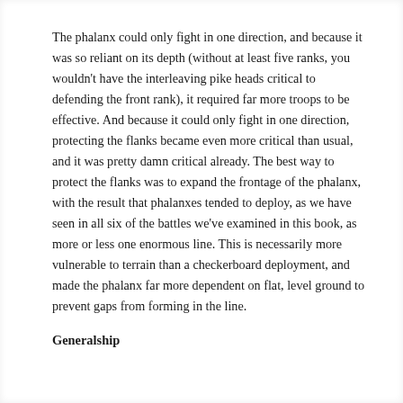The phalanx could only fight in one direction, and because it was so reliant on its depth (without at least five ranks, you wouldn't have the interleaving pike heads critical to defending the front rank), it required far more troops to be effective. And because it could only fight in one direction, protecting the flanks became even more critical than usual, and it was pretty damn critical already. The best way to protect the flanks was to expand the frontage of the phalanx, with the result that phalanxes tended to deploy, as we have seen in all six of the battles we've examined in this book, as more or less one enormous line. This is necessarily more vulnerable to terrain than a checkerboard deployment, and made the phalanx far more dependent on flat, level ground to prevent gaps from forming in the line.
Generalship